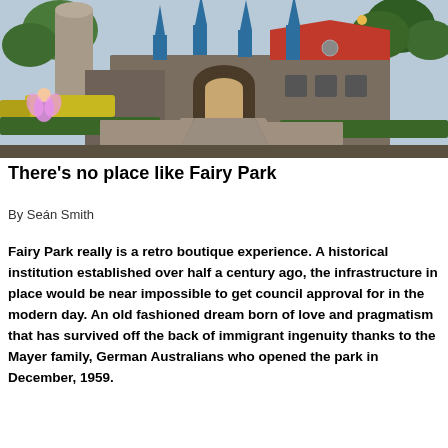[Figure (photo): Photograph of a fairy-tale castle entrance with blue spires and a red roof, surrounded by green hedges and trees, with a paved pathway leading to the arched entrance. A fairy character costume figure is visible on the left.]
There’s no place like Fairy Park
By Seán Smith
Fairy Park really is a retro boutique experience. A historical institution established over half a century ago, the infrastructure in place would be near impossible to get council approval for in the modern day. An old fashioned dream born of love and pragmatism that has survived off the back of immigrant ingenuity thanks to the Mayer family, German Australians who opened the park in December, 1959.